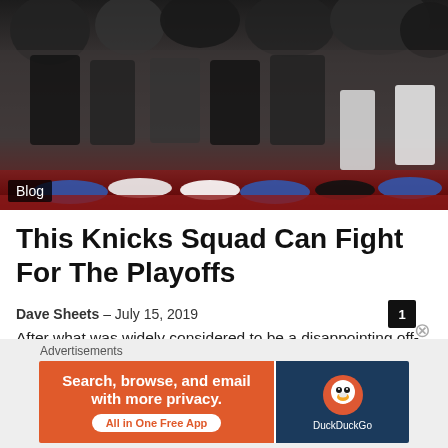[Figure (photo): Basketball players and staff sitting on the bench courtside, viewed from the side, showing legs and sneakers. A crowd is visible in the background.]
Blog
This Knicks Squad Can Fight For The Playoffs
Dave Sheets – July 15, 2019
After what was widely considered to be a disappointing off-season for the Knicks which failed to land one of the many superstar talents available in free agency, Knicks fans have reason to be
Advertisements
Search, browse, and email with more privacy.
All in One Free App
DuckDuckGo